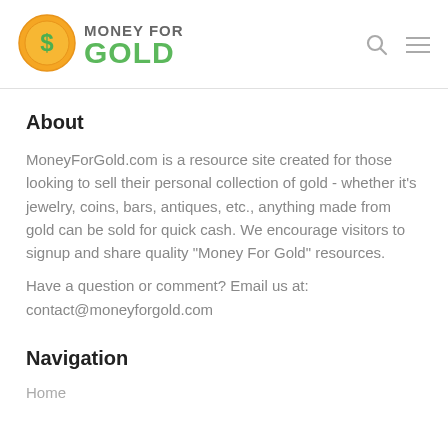[Figure (logo): Money For Gold logo with gold coin icon and green text]
About
MoneyForGold.com is a resource site created for those looking to sell their personal collection of gold - whether it’s jewelry, coins, bars, antiques, etc., anything made from gold can be sold for quick cash. We encourage visitors to signup and share quality “Money For Gold” resources.
Have a question or comment? Email us at:
contact@moneyforgold.com
Navigation
Home